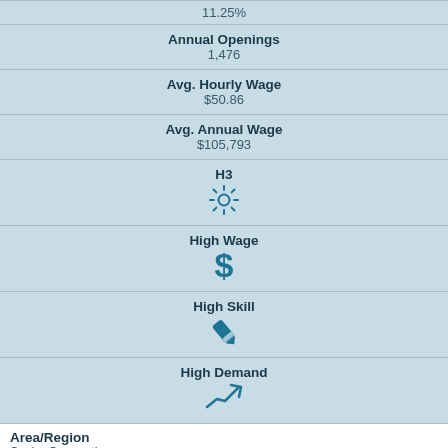| 11.25% |
| Annual Openings | 1,476 |
| Avg. Hourly Wage | $50.86 |
| Avg. Annual Wage | $105,793 |
| H3 | (sun icon) |
| High Wage | (dollar icon) |
| High Skill | (pencil/tool icon) |
| High Demand | (trending up icon) |
Area/Region
Saxby Convention